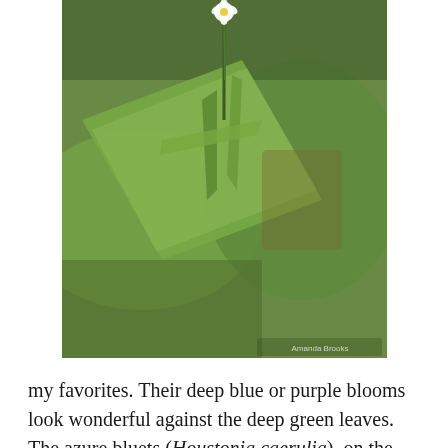[Figure (photo): Close-up photograph of a small white flower with yellow center growing among green leaves and plant stems, with blurred natural background]
my favorites. Their deep blue or purple blooms look wonderful against the deep green leaves. The azure bluets (Houstonia caerulia), on the other hand, have a very subtle bluish tinge.
[Figure (photo): Close-up photograph of small white to pale pink flowers with buds on thin stems against a warm golden-brown blurred background]